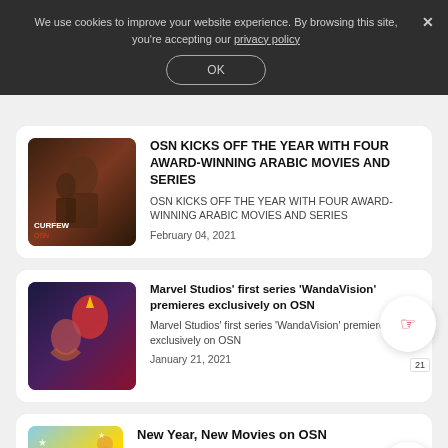We use cookies to improve your website experience. By browsing this site, you're accepting our privacy policy
OK
OSN KICKS OFF THE YEAR WITH FOUR AWARD-WINNING ARABIC MOVIES AND SERIES
OSN KICKS OFF THE YEAR WITH FOUR AWARD-WINNING ARABIC MOVIES AND SERIES
February 04, 2021
Marvel Studios’ first series ‘WandaVision’ premieres exclusively on OSN
Marvel Studios’ first series ‘WandaVision’ premieres exclusively on OSN
January 21, 2021
New Year, New Movies on OSN
Watch the latest movies, and the greatest blockbusters all month long. This January, we’re